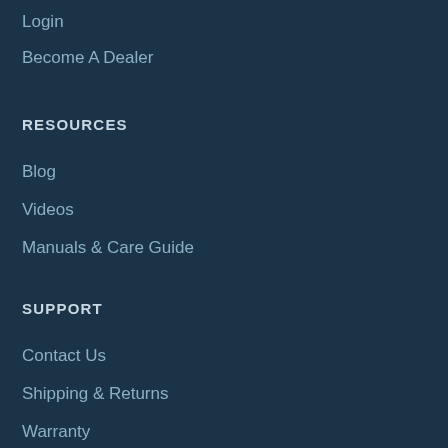Login
Become A Dealer
RESOURCES
Blog
Videos
Manuals & Care Guide
SUPPORT
Contact Us
Shipping & Returns
Warranty
COMPANY
Our Story